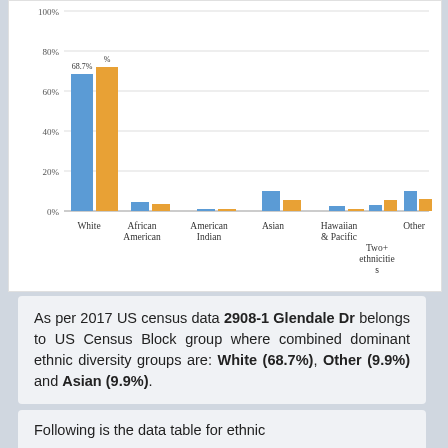[Figure (grouped-bar-chart): Ethnic diversity by group]
As per 2017 US census data 2908-1 Glendale Dr belongs to US Census Block group where combined dominant ethnic diversity groups are: White (68.7%), Other (9.9%) and Asian (9.9%).
Following is the data table for ethnic